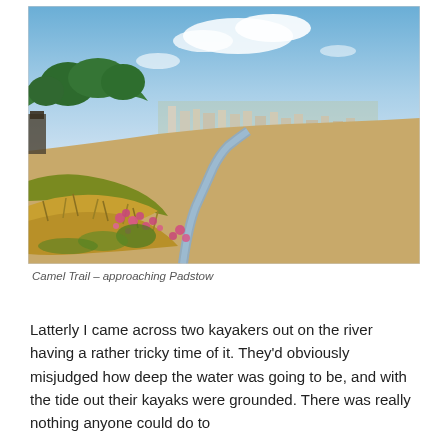[Figure (photo): Aerial view from a hillside of the Camel Trail approaching Padstow. The foreground shows dry golden grass and pink wildflowers on a steep slope. The middle ground reveals a winding tidal river channel through sandy mudflats. In the background, the town of Padstow with white and pastel buildings sits beneath a blue sky with light clouds. Green trees frame the left side.]
Camel Trail – approaching Padstow
Latterly I came across two kayakers out on the river having a rather tricky time of it. They'd obviously misjudged how deep the water was going to be, and with the tide out their kayaks were grounded. There was really nothing anyone could do to